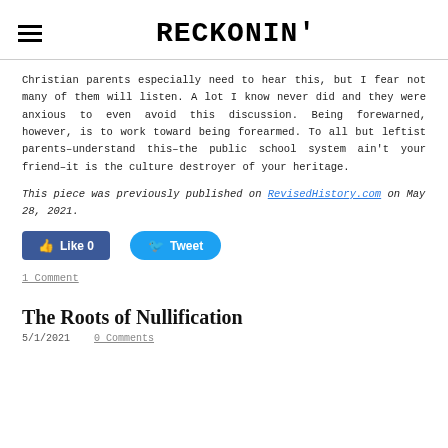RECKONIN'
Christian parents especially need to hear this, but I fear not many of them will listen. A lot I know never did and they were anxious to even avoid this discussion. Being forewarned, however, is to work toward being forearmed. To all but leftist parents–understand this–the public school system ain't your friend–it is the culture destroyer of your heritage.
This piece was previously published on RevisedHistory.com on May 28, 2021.
[Figure (other): Facebook Like button showing 0 likes and Twitter Tweet button]
1 Comment
The Roots of Nullification
5/1/2021   0 Comments